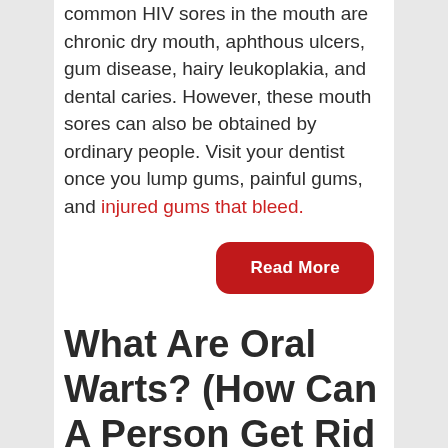common HIV sores in the mouth are chronic dry mouth, aphthous ulcers, gum disease, hairy leukoplakia, and dental caries. However, these mouth sores can also be obtained by ordinary people. Visit your dentist once you lump gums, painful gums, and injured gums that bleed.
Read More
What Are Oral Warts? (How Can A Person Get Rid Of Them?)